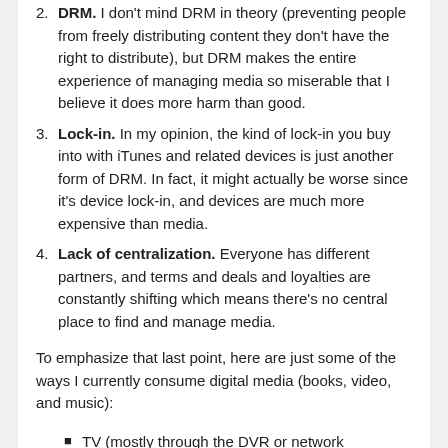2. DRM. I don't mind DRM in theory (preventing people from freely distributing content they don't have the right to distribute), but DRM makes the entire experience of managing media so miserable that I believe it does more harm than good.
3. Lock-in. In my opinion, the kind of lock-in you buy into with iTunes and related devices is just another form of DRM. In fact, it might actually be worse since it's device lock-in, and devices are much more expensive than media.
4. Lack of centralization. Everyone has different partners, and terms and deals and loyalties are constantly shifting which means there's no central place to find and manage media.
To emphasize that last point, here are just some of the ways I currently consume digital media (books, video, and music):
TV (mostly through the DVR or network streaming options).